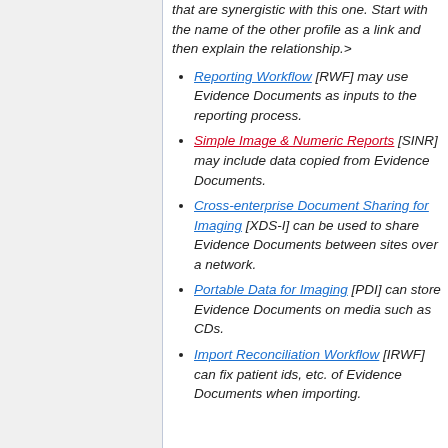that are synergistic with this one. Start with the name of the other profile as a link and then explain the relationship.>
Reporting Workflow [RWF] may use Evidence Documents as inputs to the reporting process.
Simple Image & Numeric Reports [SINR] may include data copied from Evidence Documents.
Cross-enterprise Document Sharing for Imaging [XDS-I] can be used to share Evidence Documents between sites over a network.
Portable Data for Imaging [PDI] can store Evidence Documents on media such as CDs.
Import Reconciliation Workflow [IRWF] can fix patient ids, etc. of Evidence Documents when importing.